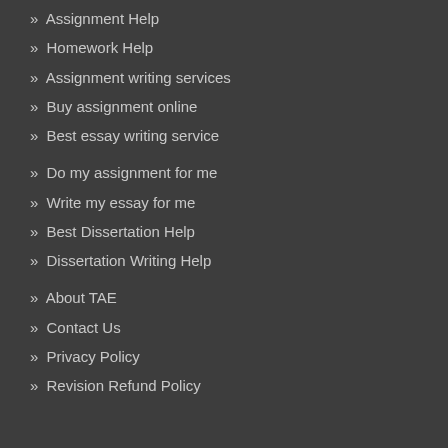» Assignment Help
» Homework Help
» Assignment writing services
» Buy assignment online
» Best essay writing service
» Do my assignment for me
» Write my essay for me
» Best Dissertation Help
» Dissertation Writing Help
» About TAE
» Contact Us
» Privacy Policy
» Revision Refund Policy